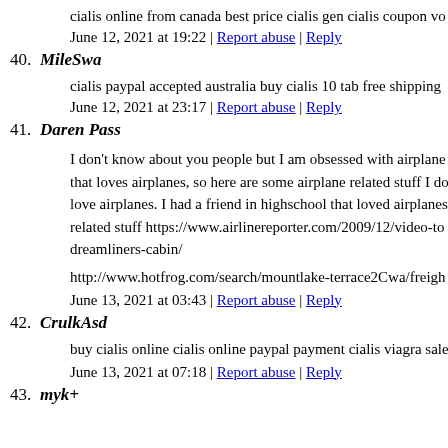cialis online from canada best price cialis gen cialis coupon vo
June 12, 2021 at 19:22 | Report abuse | Reply
40. MileSwa
cialis paypal accepted australia buy cialis 10 tab free shipping
June 12, 2021 at 23:17 | Report abuse | Reply
41. Daren Pass
I don't know about you people but I am obsessed with airplane
that loves airplanes, so here are some airplane related stuff I do
love airplanes. I had a friend in highschool that loved airplanes
related stuff https://www.airlinereporter.com/2009/12/video-to
dreamliners-cabin/
http://www.hotfrog.com/search/mountlake-terrace2Cwa/freigh
June 13, 2021 at 03:43 | Report abuse | Reply
42. CrulkAsd
buy cialis online cialis online paypal payment cialis viagra sale
June 13, 2021 at 07:18 | Report abuse | Reply
43. myk+